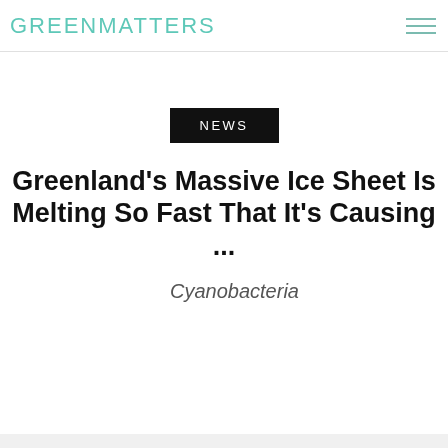GREENMATTERS
NEWS
Greenland's Massive Ice Sheet Is Melting So Fast That It's Causing ...
[Figure (photo): Broken image placeholder with label 'Cyanobacteria']